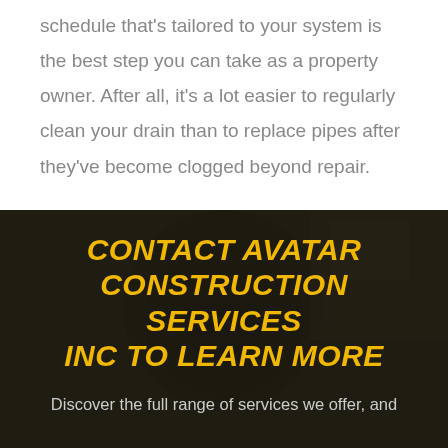schedule that's tailored to your system is the best step you can take as a property owner. After all, it's a lot easier to regularly clean your drain than to replace pipes after they've become clogged beyond repair.
[Figure (photo): Dark background photo of a pipe fitting/coupling with a semi-transparent dark overlay, serving as background for the contact call-to-action section]
CONTACT AVATAR CONSTRUCTION SERVICES INC TO LEARN MORE
Discover the full range of services we offer, and